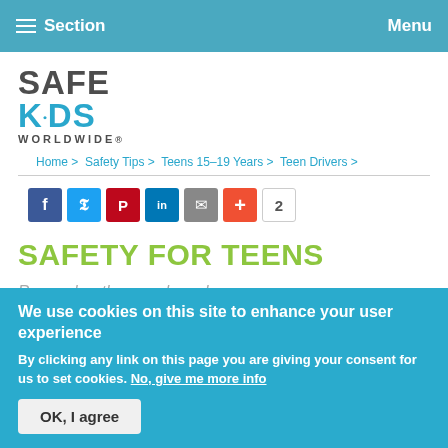Section  Menu
[Figure (logo): Safe Kids Worldwide logo — SAFE in dark gray, KiDS in blue with dots, WORLDWIDE in small caps]
Home > Safety Tips > Teens 15–19 Years > Teen Drivers >
[Figure (infographic): Social share buttons: Facebook, Twitter, Pinterest, LinkedIn, Email, Plus, count badge showing 2]
SAFETY FOR TEENS
Remember those awkward
We use cookies on this site to enhance your user experience
By clicking any link on this page you are giving your consent for us to set cookies. No, give me more info
OK, I agree